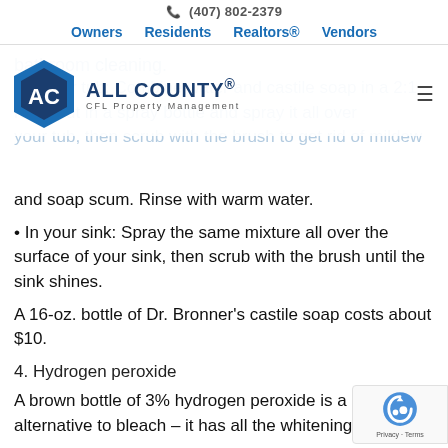(407) 802-2379
Owners  Residents  Realtors®  Vendors
[Figure (logo): All County CFL Property Management logo — blue hexagon with AC letters and company name]
bristled brush, castile soap will be your best friend for bathroom cleaning.
• In your tub: Combine water and castile soap in a 2:1 ratio, put in a spray bottle and spray it all over your tub, then scrub with the brush to get rid of mildew and soap scum. Rinse with warm water.
• In your sink: Spray the same mixture all over the surface of your sink, then scrub with the brush until the sink shines.
A 16-oz. bottle of Dr. Bronner's castile soap costs about $10.
4. Hydrogen peroxide
A brown bottle of 3% hydrogen peroxide is a great alternative to bleach – it has all the whitening power without the harsh chemicals associated with bleach.